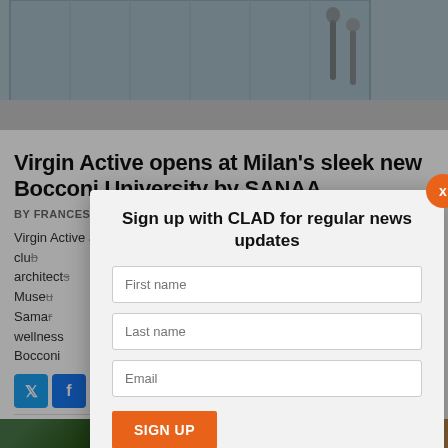[Figure (photo): Exterior photo of Bocconi University building with people walking outside, glass facade visible]
Virgin Active opens at Milan's sleek new Bocconi University by SANAA
BY FRANCES MARCELLIN | 06 JUL 2022
Virgin Active and Myrthe Wellness have joined forces to open a health club at Milan's new Bocconi University. The entire building was designed by the architects... contemporary Art Museum in... yo and La Samar... ess and wellness... Bocconi...
[Figure (infographic): Sign up modal with CLAD newsletter signup form including First name, Last name, Email fields and SIGN UP button, with orange X close button]
[Figure (photo): Bottom thumbnail strip showing two partial article images on left and right sides]